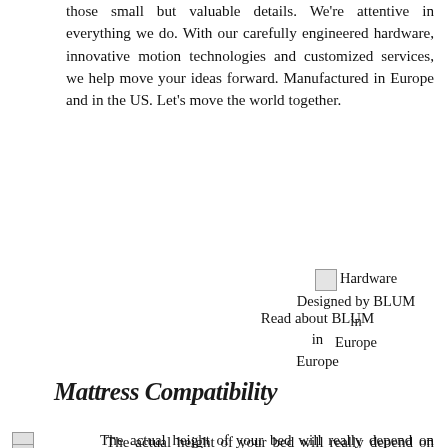Blum, we pay attention to those small but valuable details. We're attentive in everything we do. With our carefully engineered hardware, innovative motion technologies and customized services, we help move your ideas forward. Manufactured in Europe and in the US. Let's move the world together.
[Figure (photo): Hardware Designed by BLUM image placeholder with text 'Read about BLUM in Europe']
Mattress Compatibility
[Figure (photo): Bedroom mattress furniture image placeholder]
The actual height of your bed will really depend on how thick the mattress is. The size of a regular mattress ranges between 8 and 20 inches. What stays the same is the height at which the mattress will rest on our slat system. Most of our frames will support your mattress at 6-7" from the floor. So the total height of the bed will be